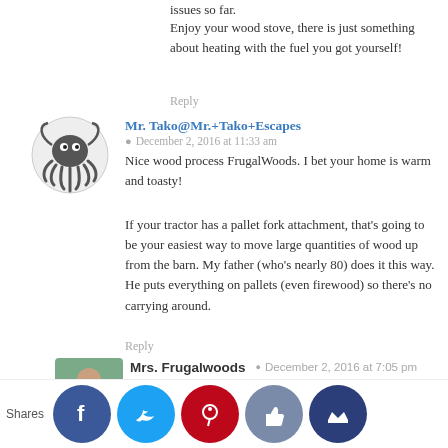issues so far.
Enjoy your wood stove, there is just something about heating with the fuel you got yourself!
Reply
Mr. Tako@Mr.+Tako+Escapes
December 2, 2016 at 11:33 am
Nice wood process FrugalWoods. I bet your home is warm and toasty!
If your tractor has a pallet fork attachment, that's going to be your easiest way to move large quantities of wood up from the barn. My father (who's nearly 80) does it this way. He puts everything on pallets (even firewood) so there's no carrying around.
Reply
Mrs. Frugalwoods
December 2, 2016 at 7:05 pm
Yep, we load the wood into the tractor bucket, proving that tractors are great for everything!!